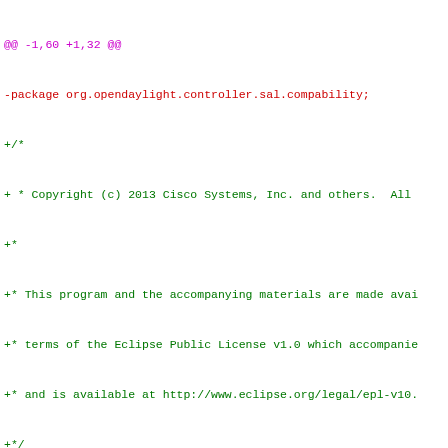[Figure (screenshot): A git diff view of a Java source file showing changes from compability to compatibility package names, with purple header lines, red removed lines, green added lines, and black context lines.]